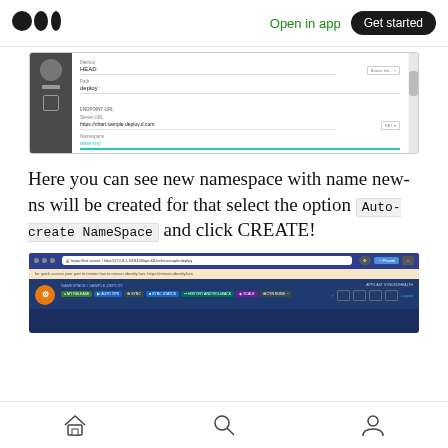Open in app  Get started
[Figure (screenshot): Screenshot of a deployment configuration form with fields for method (HEAD), path (deploy), and sections for endpoint URL and namespace (new-ns)]
Here you can see new namespace with name new-ns will be created for that select the option Auto-create NameSpace and click CREATE!
[Figure (screenshot): Screenshot of a web application dashboard showing navigation tabs including MY RELEASE, HISTORY AND ROLLBACK, SCALE, and others, with an avatar and breadcrumb navigation]
Home Search Profile navigation icons